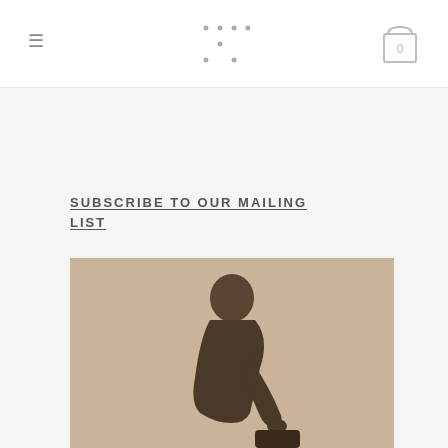≡ [logo] 0
SUBSCRIBE TO OUR MAILING LIST
[Figure (photo): Silhouette of a person leaning over and working on something, shot in warm sepia/beige tones]
06 DEC PENDULAR MOTION BY OCTAVI